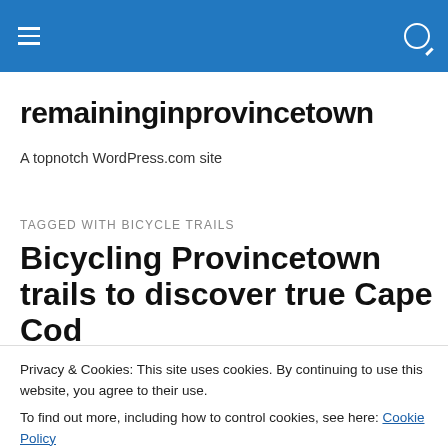remaininginprovincetown — site navigation header bar
remaininginprovincetown
A topnotch WordPress.com site
TAGGED WITH BICYCLE TRAILS
Bicycling Provincetown trails to discover true Cape Cod
Privacy & Cookies: This site uses cookies. By continuing to use this website, you agree to their use.
To find out more, including how to control cookies, see here: Cookie Policy
Close and accept